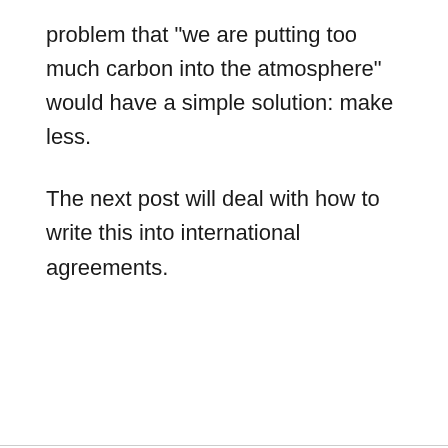problem that “we are putting too much carbon into the atmosphere” would have a simple solution: make less.
The next post will deal with how to write this into international agreements.
Vista Coal – another federal betrayal of present